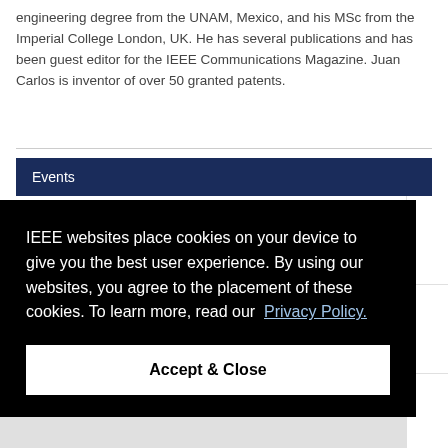engineering degree from the UNAM, Mexico, and his MSc from the Imperial College London, UK. He has several publications and has been guest editor for the IEEE Communications Magazine. Juan Carlos is inventor of over 50 granted patents.
Events
IEEE websites place cookies on your device to give you the best user experience. By using our websites, you agree to the placement of these cookies. To learn more, read our Privacy Policy.
Accept & Close